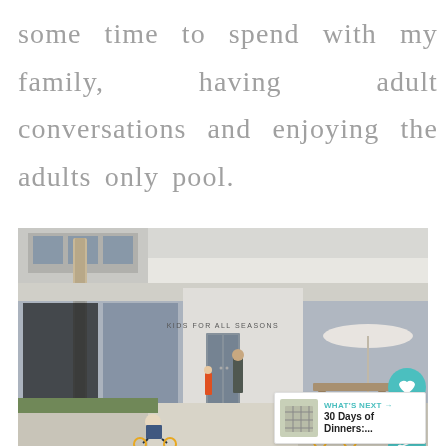some time to spend with my family, having adult conversations and enjoying the adults only pool.
[Figure (photo): Exterior photo of a modern white building with 'KIDS FOR ALL SEASONS' signage. Children are riding balance bikes in front. A palm tree is visible on the left. Tables, chairs, and umbrellas are visible to the right. UI overlay buttons (heart, share, What's Next) appear on the right side.]